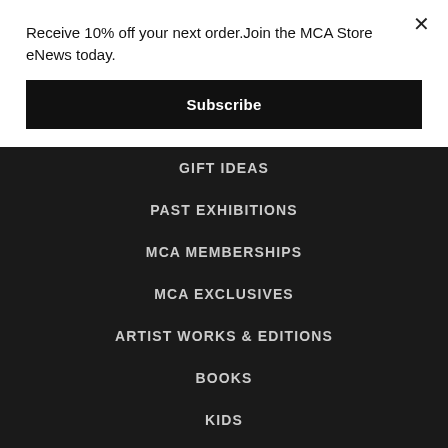Receive 10% off your next order.Join the MCA Store eNews today.
Subscribe
GIFT IDEAS
PAST EXHIBITIONS
MCA MEMBERSHIPS
MCA EXCLUSIVES
ARTIST WORKS & EDITIONS
BOOKS
KIDS
FASHION